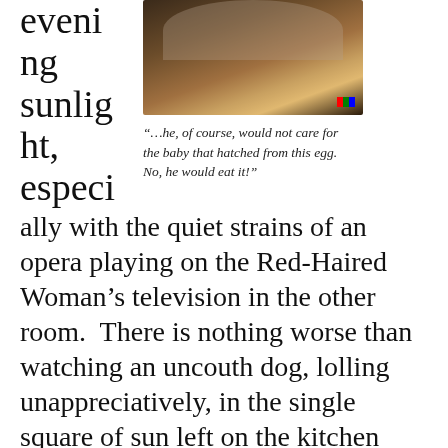[Figure (photo): Close-up photo of what appears to be a bowl or cup with warm golden/brown tones, viewed from above, with a small colorful pixel-like element in the bottom right corner.]
“…he, of course, would not care for the baby that hatched from this egg. No, he would eat it!”
evening sunlight, especially with the quiet strains of an opera playing on the Red-Haired Woman’s television in the other room.  There is nothing worse than watching an uncouth dog, lolling unappreciatively, in the single square of sun left on the kitchen floor, insensible to both the golden warmth and the soft singing in the distance.
Continue reading